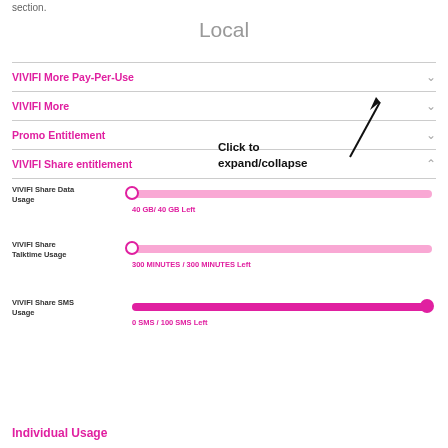section.
Local
VIVIFI More Pay-Per-Use
VIVIFI More
Promo Entitlement
Click to expand/collapse
VIVIFI Share entitlement
[Figure (infographic): Usage bar for VIVIFI Share Data Usage showing 40 GB / 40 GB Left with a full pink bar and dot at start]
[Figure (infographic): Usage bar for VIVIFI Share Talktime Usage showing 300 MINUTES / 300 MINUTES Left with a full pink bar and dot at start]
[Figure (infographic): Usage bar for VIVIFI Share SMS Usage showing 0 SMS / 100 SMS Left with a full magenta bar and dot at end]
Individual Usage